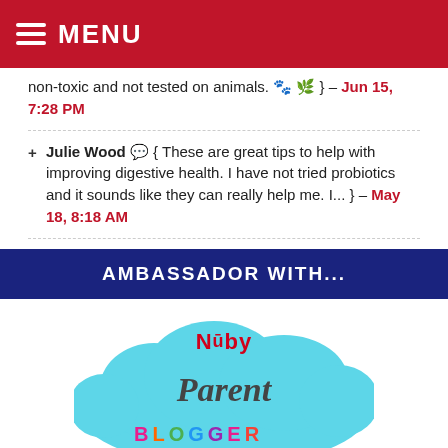MENU
non-toxic and not tested on animals. 🐾 🌿 } – Jun 15, 7:28 PM
Julie Wood 💬 { These are great tips to help with improving digestive health. I have not tried probiotics and it sounds like they can really help me. I... } – May 18, 8:18 AM
AMBASSADOR WITH...
[Figure (logo): Nuby Parent Blogger logo — teal cloud background with 'Nuby' in red cursive, 'Parent' in dark cursive below, and 'BLOGGER' in multicolor block letters at bottom]
[Figure (logo): Fox Home Entertainment 'I'M AN INSIDER' badge — teal background with large white bold text 'I'M AN INSIDER' and Fox logo at bottom]